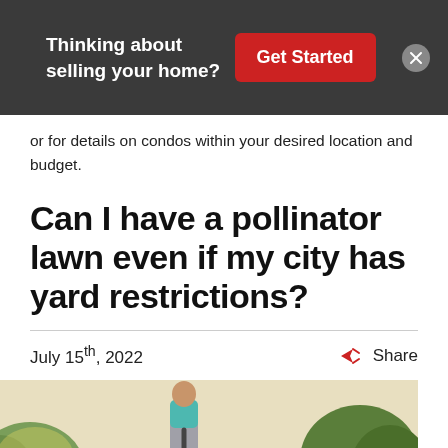[Figure (screenshot): Dark banner advertisement with text 'Thinking about selling your home?', a red 'Get Started' button, and a close (X) button on grey circle background.]
or for details on condos within your desired location and budget.
Can I have a pollinator lawn even if my city has yard restrictions?
July 15th, 2022   Share
[Figure (photo): Person pushing a lawn mower in a sunny yard with trees in the background.]